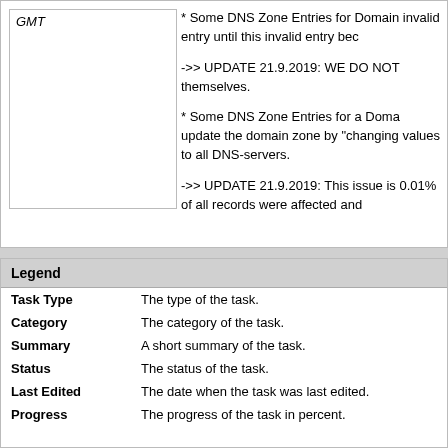GMT
* Some DNS Zone Entries for Domain invalid entry until this invalid entry bec

->> UPDATE 21.9.2019: WE DO NOT themselves.

* Some DNS Zone Entries for a Doma update the domain zone by "changing values to all DNS-servers.

->> UPDATE 21.9.2019: This issue is 0.01% of all records were affected and
| Legend |  |
| --- | --- |
| Task Type | The type of the task. |
| Category | The category of the task. |
| Summary | A short summary of the task. |
| Status | The status of the task. |
| Last Edited | The date when the task was last edited. |
| Progress | The progress of the task in percent. |